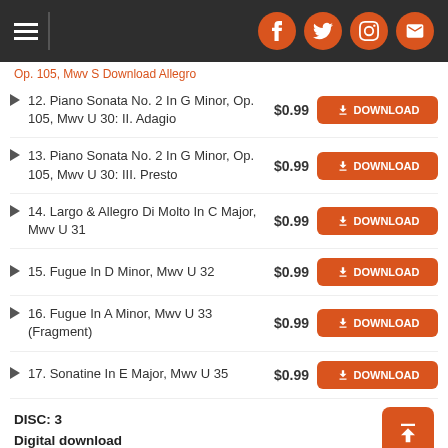Navigation header with social icons (Facebook, Twitter, Instagram, Email)
Op. 105, Mwv S Download Allegro
12. Piano Sonata No. 2 In G Minor, Op. 105, Mwv U 30: II. Adagio — $0.99 DOWNLOAD
13. Piano Sonata No. 2 In G Minor, Op. 105, Mwv U 30: III. Presto — $0.99 DOWNLOAD
14. Largo & Allegro Di Molto In C Major, Mwv U 31 — $0.99 DOWNLOAD
15. Fugue In D Minor, Mwv U 32 — $0.99 DOWNLOAD
16. Fugue In A Minor, Mwv U 33 (Fragment) — $0.99 DOWNLOAD
17. Sonatine In E Major, Mwv U 35 — $0.99 DOWNLOAD
DISC: 3
Digital download
MP3